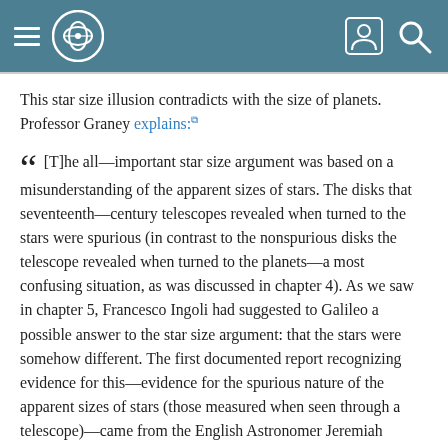Navigation header with logo and icons
This star size illusion contradicts with the size of planets. Professor Graney explains:
“ [T]he all—important star size argument was based on a misunderstanding of the apparent sizes of stars. The disks that seventeenth—century telescopes revealed when turned to the stars were spurious (in contrast to the nonspurious disks the telescope revealed when turned to the planets—a most confusing situation, as was discussed in chapter 4). As we saw in chapter 5, Francesco Ingoli had suggested to Galileo a possible answer to the star size argument: that the stars were somehow different. The first documented report recognizing evidence for this—evidence for the spurious nature of the apparent sizes of stars (those measured when seen through a telescope)—came from the English Astronomer Jeremiah Horrocks (1618—1641). Horrocks, in a report on the 1639 transit of Venus across the Sun, noted that he and his friend William Crabtree (1610—1644) had once observed the Moon passing through the stars of the Pleiades. The stars had simply winked out as the Moon passed